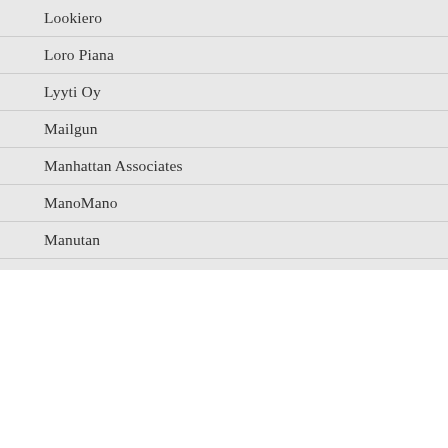Lookiero
Loro Piana
Lyyti Oy
Mailgun
Manhattan Associates
ManoMano
Manutan
Mars
Match G…
We use cookies on our website to give you the most relevant experience by remembering your preferences and repeat visits. By clicking “Accept”, you consent to the use of ALL the cookies.
Cookie settings
ACCEPT